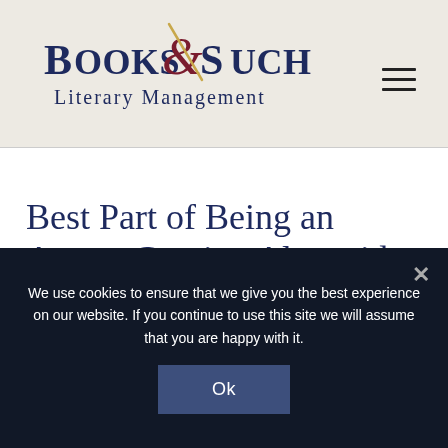[Figure (logo): Books & Such Literary Management logo with stylized ampersand in dark red/maroon and dark navy blue text]
Best Part of Being an Agent: Coming Alongside
We use cookies to ensure that we give you the best experience on our website. If you continue to use this site we will assume that you are happy with it.